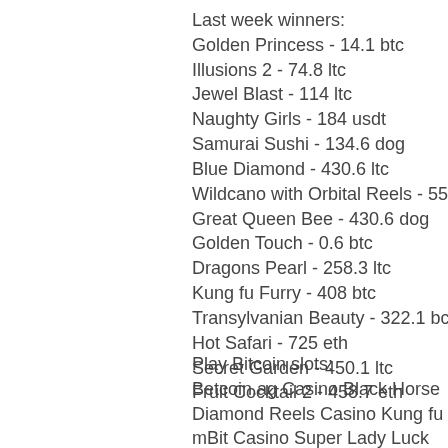Last week winners:
Golden Princess - 14.1 btc
Illusions 2 - 74.8 ltc
Jewel Blast - 114 ltc
Naughty Girls - 184 usdt
Samurai Sushi - 134.6 dog
Blue Diamond - 430.6 ltc
Wildcano with Orbital Reels - 55 eth
Great Queen Bee - 430.6 dog
Golden Touch - 0.6 btc
Dragons Pearl - 258.3 ltc
Kung fu Furry - 408 btc
Transylvanian Beauty - 322.1 bch
Hot Safari - 725 eth
Secret Garden - 450.1 ltc
Fruit Cocktail 2 - 458.7 eth
Play Bitcoin slots:
Betcoin.ag Casino Black Horse
Diamond Reels Casino Kung fu Furry
mBit Casino Super Lady Luck